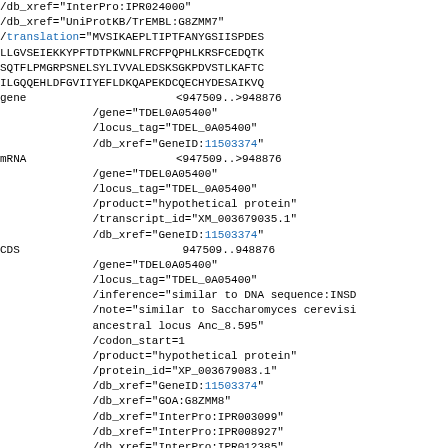/db_xref="InterPro:IPR024000"
/db_xref="UniProtKB/TrEMBL:G8ZMM7"
/translation="MVSIKAEPLTIPTFANYGSIISPDES
LLGVSEIEKKYPFTDTPKWNLFRCFPQPHLKRSFCEDQTK
SQTFLPMGRPSNELSYLIVVALEDSKSGKPDVSTLKAFTC
ILGQQEHLDFGVIIYEFLDKQAPEKDCQECHYDESAIKVQ
gene    <947509..>948876
/gene="TDEL0A05400"
/locus_tag="TDEL_0A05400"
/db_xref="GeneID:11503374"
mRNA    <947509..>948876
/gene="TDEL0A05400"
/locus_tag="TDEL_0A05400"
/product="hypothetical protein"
/transcript_id="XM_003679035.1"
/db_xref="GeneID:11503374"
CDS     947509..948876
/gene="TDEL0A05400"
/locus_tag="TDEL_0A05400"
/inference="similar to DNA sequence:INSD
/note="similar to Saccharomyces cerevisiae
ancestral locus Anc_8.595"
/codon_start=1
/product="hypothetical protein"
/protein_id="XP_003679083.1"
/db_xref="GeneID:11503374"
/db_xref="GOA:G8ZMM8"
/db_xref="InterPro:IPR003099"
/db_xref="InterPro:IPR008927"
/db_xref="InterPro:IPR012385"
/db_xref="InterPro:IPR016040"
/db_xref="UniProtKB/TrEMBL:G8ZMM8"
/translation="MSSQENKENQKLLQMGTEDDTKRWKE